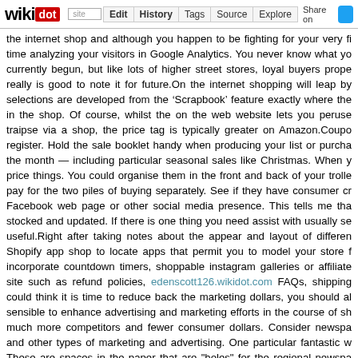wikidot | site | Edit | History | Tags | Source | Explore | Share on [Twitter]
the internet shop and although you happen to be fighting for your very fi time analyzing your visitors in Google Analytics. You never know what yo currently begun, but like lots of higher street stores, loyal buyers prope really is good to note it for future.On the internet shopping will leap by selections are developed from the ‘Scrapbook’ feature exactly where the in the shop. Of course, whilst the on the web website lets you peruse traipse via a shop, the price tag is typically greater on Amazon.Coupo register. Hold the sale booklet handy when producing your list or purcha the month — including particular seasonal sales like Christmas. When y price things. You could organise them in the front and back of your trolle pay for the two piles of buying separately. See if they have consumer cr Facebook web page or other social media presence. This tells me tha stocked and updated. If there is one thing you need assist with usually se useful.Right after taking notes about the appear and layout of differen Shopify app shop to locate apps that permit you to model your store f incorporate countdown timers, shoppable instagram galleries or affiliate site such as refund policies, edenscott126.wikidot.com FAQs, shipping could think it is time to reduce back the marketing dollars, you should al sensible to enhance advertising and marketing efforts in the course of sh much more competitors and fewer consumer dollars. Consider newspa and other types of marketing and advertising. One particular fantastic w These are spaces in the paper that are "holes" for the regional newspa newspaper can drop in at its discretion.To stand out, develop polished, c and advertising channels. When browsing for a Shopify theme, you can s If you beloved this article so you would like to obtain more (Warmnoise2.bloglove.cc) i implore you to visit the following site our v whether it really is a very good fit for your e-commerce business.By begin to be capable to launch your company swiftly so you can start creating